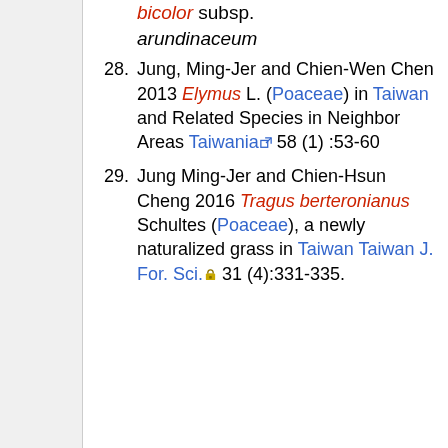bicolor subsp. arundinaceum (continuation)
28. Jung, Ming-Jer and Chien-Wen Chen 2013 Elymus L. (Poaceae) in Taiwan and Related Species in Neighbor Areas Taiwania 58 (1) :53-60
29. Jung Ming-Jer and Chien-Hsun Cheng 2016 Tragus berteronianus Schultes (Poaceae), a newly naturalized grass in Taiwan Taiwan J. For. Sci. 31 (4):331-335.